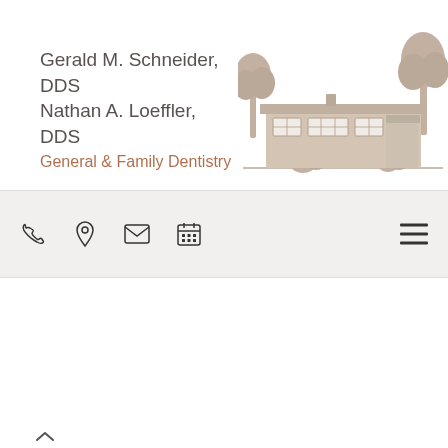Gerald M. Schneider, DDS | Nathan A. Loeffler, DDS | General & Family Dentistry
[Figure (illustration): Line drawing illustration of a single-story dental office building with trees on each side]
[Figure (infographic): Navigation bar with phone, location pin, envelope, and calendar icons on the left, and a hamburger menu icon on the right]